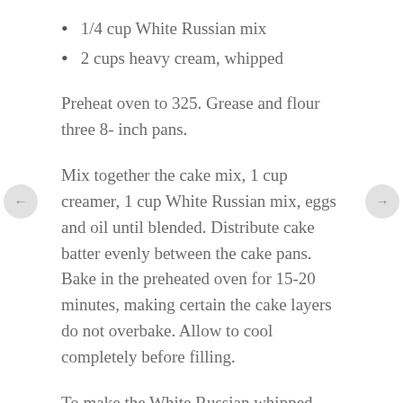1/4 cup White Russian mix
2 cups heavy cream, whipped
Preheat oven to 325. Grease and flour three 8- inch pans.
Mix together the cake mix, 1 cup creamer, 1 cup White Russian mix, eggs and oil until blended. Distribute cake batter evenly between the cake pans. Bake in the preheated oven for 15-20 minutes, making certain the cake layers do not overbake. Allow to cool completely before filling.
To make the White Russian whipped cream filling: Combine pudding mix, 1/4 cup White Russian mix and 1 cup creamer. Set aside for 5 minutes until thickened. Fold the whipped cream into the White